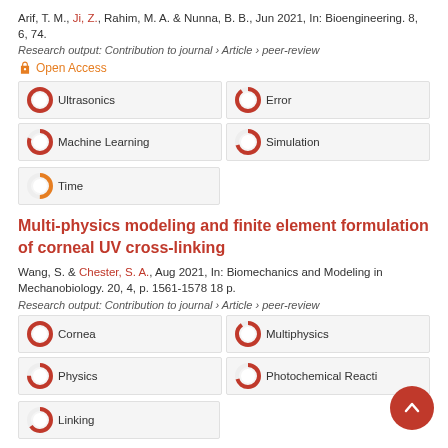Arif, T. M., Ji, Z., Rahim, M. A. & Nunna, B. B., Jun 2021, In: Bioengineering. 8, 6, 74.
Research output: Contribution to journal › Article › peer-review
Open Access
[Figure (infographic): Keyword badges with donut chart percentage indicators: Ultrasonics 100%, Error 90%, Machine Learning 80%, Simulation 70%, Time 50%]
Multi-physics modeling and finite element formulation of corneal UV cross-linking
Wang, S. & Chester, S. A., Aug 2021, In: Biomechanics and Modeling in Mechanobiology. 20, 4, p. 1561-1578 18 p.
Research output: Contribution to journal › Article › peer-review
[Figure (infographic): Keyword badges with donut chart percentage indicators: Cornea 100%, Multiphysics 90%, Physics 75%, Photochemical Reactions 70%, Linking 65%]